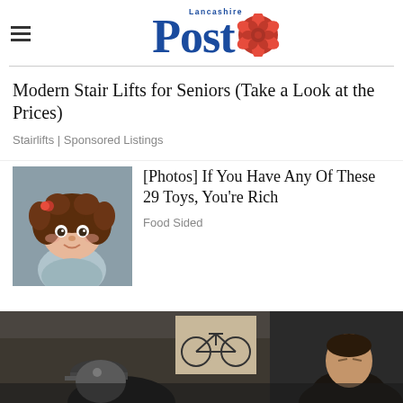Lancashire Post
Modern Stair Lifts for Seniors (Take a Look at the Prices)
Stairlifts | Sponsored Listings
[Figure (photo): Cabbage patch doll with brown curly hair and wide eyes]
[Photos] If You Have Any Of These 29 Toys, You're Rich
Food Sided
[Figure (photo): Two people in what appears to be a public transit setting; one wearing a baseball cap, one in a suit jacket; a bicycle diagram on the wall behind them]